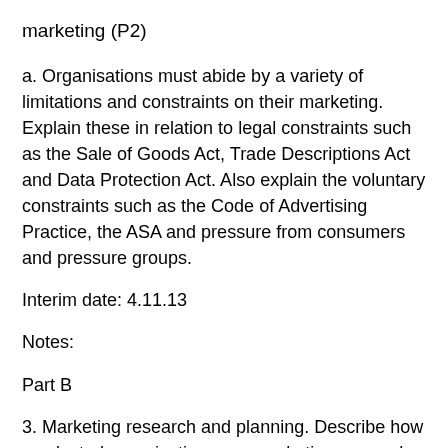marketing (P2)
a. Organisations must abide by a variety of limitations and constraints on their marketing. Explain these in relation to legal constraints such as the Sale of Goods Act, Trade Descriptions Act and Data Protection Act. Also explain the voluntary constraints such as the Code of Advertising Practice, the ASA and pressure from consumers and pressure groups.
Interim date: 4.11.13
Notes:
Part B
3. Marketing research and planning. Describe how a selected organisation uses marketing research to contribute to the development of its marketing plans (P3). Use